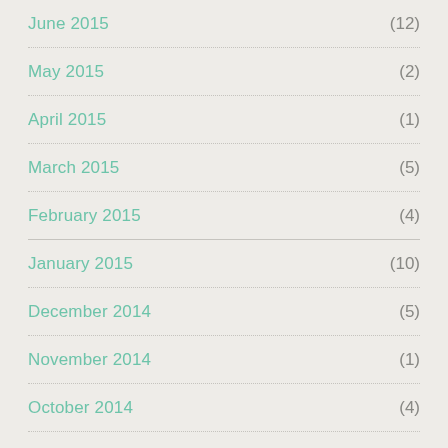June 2015 (12)
May 2015 (2)
April 2015 (1)
March 2015 (5)
February 2015 (4)
January 2015 (10)
December 2014 (5)
November 2014 (1)
October 2014 (4)
September 2014 (2)